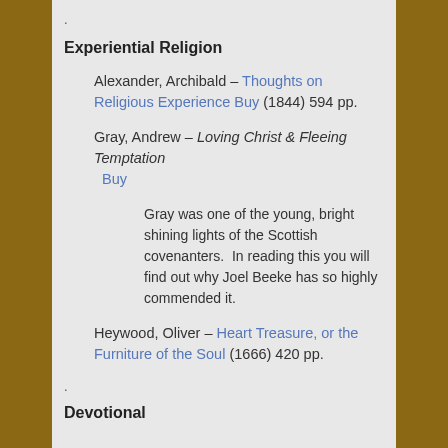.
Experiential Religion
Alexander, Archibald – Thoughts on Religious Experience  Buy  (1844)  594 pp.
Gray, Andrew – Loving Christ & Fleeing Temptation  Buy
Gray was one of the young, bright shining lights of the Scottish covenanters.  In reading this you will find out why Joel Beeke has so highly commended it.
Heywood, Oliver – Heart Treasure, or the Furniture of the Soul  (1666)  420 pp.
.
Devotional